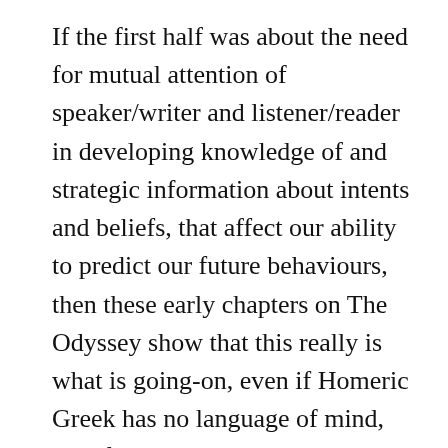If the first half was about the need for mutual attention of speaker/writer and listener/reader in developing knowledge of and strategic information about intents and beliefs, that affect our ability to predict our future behaviours, then these early chapters on The Odyssey show that this really is what is going-on, even if Homeric Greek has no language of mind, belief and psychology. There are all the obvious dramatic ironies between the mortals and between the gods and mortals over how much is known, both here and now and ahead of time, and of course deliberate “deceptions” as part of the process. Deceptions of incomplete knowledge, even in collaborative processes. Two points caused me to pause and